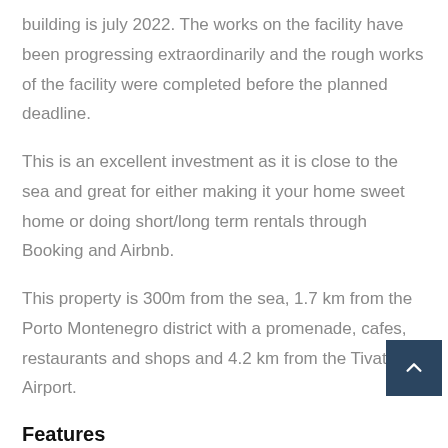building is july 2022. The works on the facility have been progressing extraordinarily and the rough works of the facility were completed before the planned deadline.
This is an excellent investment as it is close to the sea and great for either making it your home sweet home or doing short/long term rentals through Booking and Airbnb.
This property is 300m from the sea, 1.7 km from the Porto Montenegro district with a promenade, cafes, restaurants and shops and 4.2 km from the Tivat Airport.
Features